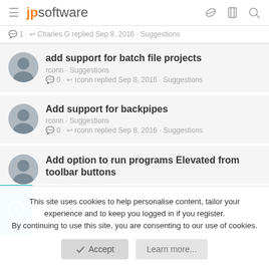jpsoftware
1 · Charles G replied Sep 8, 2016 · Suggestions
add support for batch file projects
rconn · Suggestions
0 · rconn replied Sep 8, 2016 · Suggestions
Add support for backpipes
rconn · Suggestions
0 · rconn replied Sep 8, 2016 · Suggestions
Add option to run programs Elevated from toolbar buttons
This site uses cookies to help personalise content, tailor your experience and to keep you logged in if you register. By continuing to use this site, you are consenting to our use of cookies.